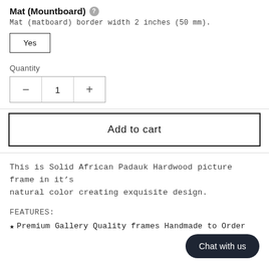Mat (Mountboard)
Mat (matboard) border width 2 inches (50 mm).
Yes
Quantity
1
Add to cart
This is Solid African Padauk Hardwood picture frame in it’s natural color creating exquisite design.
FEATURES:
★ Premium Gallery Quality frames Handmade to Order
Chat with us